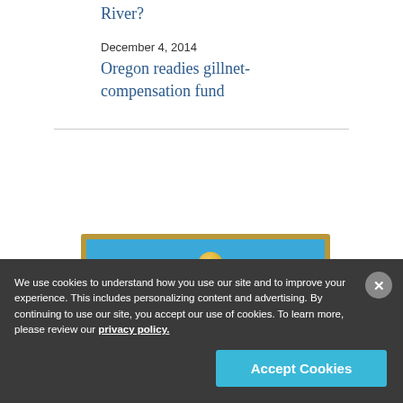River?
December 4, 2014
Oregon readies gillnet-compensation fund
[Figure (illustration): Partial view of a decorative bordered image with blue background and gold circular element, suggesting a badge or emblem]
We use cookies to understand how you use our site and to improve your experience. This includes personalizing content and advertising. By continuing to use our site, you accept our use of cookies. To learn more, please review our privacy policy.